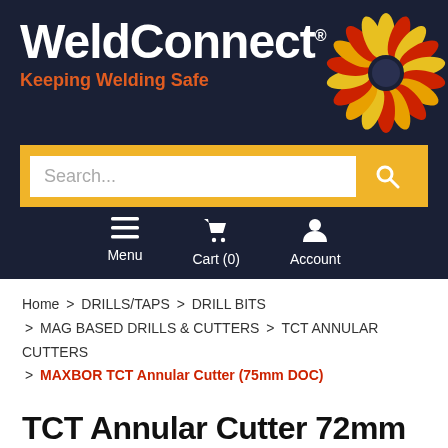[Figure (logo): WeldConnect logo with sunflower icon and tagline 'Keeping Welding Safe' on dark navy background]
Search...
Menu   Cart (0)   Account
Home > DRILLS/TAPS > DRILL BITS > MAG BASED DRILLS & CUTTERS > TCT ANNULAR CUTTERS > MAXBOR TCT Annular Cutter (75mm DOC)
TCT Annular Cutter 72mm Dia x